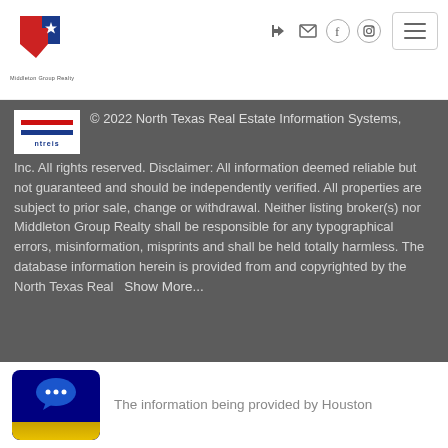Middleton Group Realty — navigation header with logo and icons
© 2022 North Texas Real Estate Information Systems, Inc. All rights reserved. Disclaimer: All information deemed reliable but not guaranteed and should be independently verified. All properties are subject to prior sale, change or withdrawal. Neither listing broker(s) nor Middleton Group Realty shall be responsible for any typographical errors, misinformation, misprints and shall be held totally harmless. The database information herein is provided from and copyrighted by the North Texas Real   Show More...
[Figure (logo): Chat widget badge with speech bubble icon and partial logo at bottom]
The information being provided by Houston